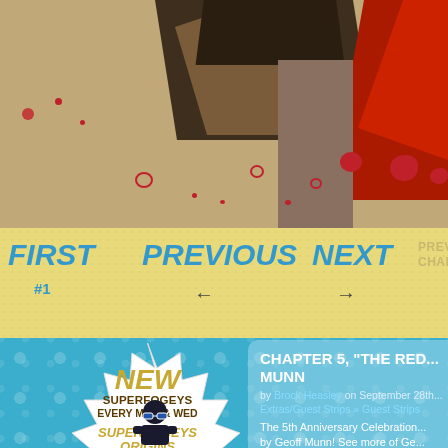[Figure (illustration): Comic book artwork showing stylized characters with dark angular shapes, a red-caped figure on the right, brown figure in center, against a tan/beige background with red blood splatter dots]
[Figure (infographic): Navigation bar with yellow background showing FIRST (#1), PREVIOUS (left arrow), NEXT (right arrow) navigation links in blue, and dimmed PREVIOUS CHAPTER, FIRST IN CHAPTER, NEXT IN CHAPTER links]
[Figure (infographic): Starburst badge on blue background advertising: NEW SUPERFOGEYS EVERY MON & WED, SUPERFOGEYS ORIGINS EVERY FRI]
CHAPTER 5, “THE RED... MUNN
by Brock Heasley on September 28th... Extras/Guest Strips » Guest Strips
The 5th Anniversary Celebration... by Geoff Munn! See more of Ge...
└ Tags: captain spectacular, clovis, je...
Related Comics ¬